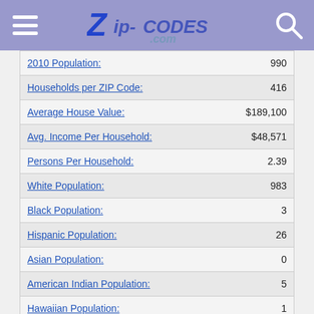Zip-Codes.com
| Label | Value |
| --- | --- |
| 2010 Population: | 990 |
| Households per ZIP Code: | 416 |
| Average House Value: | $189,100 |
| Avg. Income Per Household: | $48,571 |
| Persons Per Household: | 2.39 |
| White Population: | 983 |
| Black Population: | 3 |
| Hispanic Population: | 26 |
| Asian Population: | 0 |
| American Indian Population: | 5 |
| Hawaiian Population: | 1 |
| Other Population: | 8 |